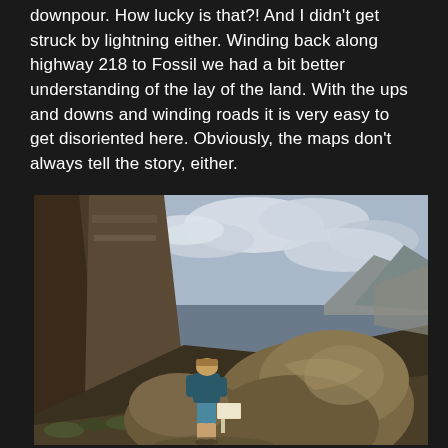downpour.  How lucky is that?!  And I didn't get struck by lightning either.  Winding back along highway 218 to Fossil we had a bit better understanding of the lay of the land.  With the ups and downs and winding roads it is very easy to get disoriented here.  Obviously, the maps don't always tell the story, either.
[Figure (photo): A person in a blue jacket and shorts stands among large boulders in a rocky canyon landscape, looking up at a sign or marker near a massive rock. Mountains and a cloudy sky are visible in the background. The terrain shows dry scrubby vegetation and light tan rocky hills.]